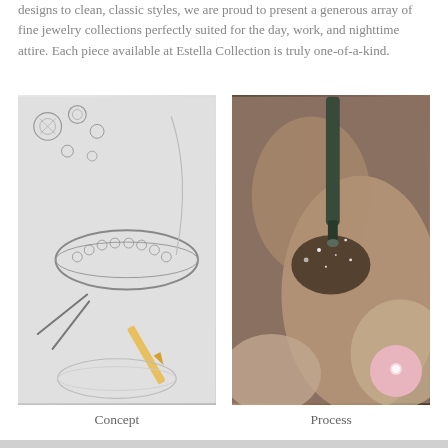designs to clean, classic styles, we are proud to present a generous array of fine jewelry collections perfectly suited for the day, work, and nighttime attire. Each piece available at Estella Collection is truly one-of-a-kind.
[Figure (photo): Pencil sketch drawing of a diamond ring and loose diamonds with tweezers and pencil visible]
Concept
[Figure (photo): Close-up photo of a jeweler's tool working on a ring, with sparkly diamonds being set]
Process